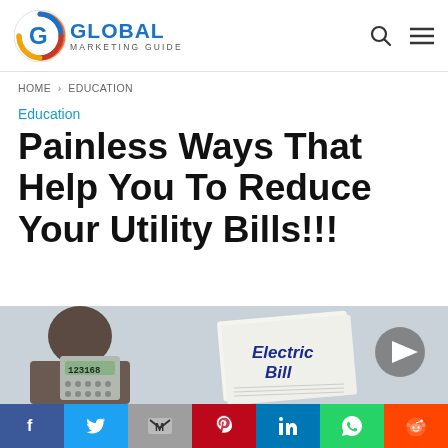GLOBAL MARKETING GUIDE
HOME > EDUCATION
Education
Painless Ways That Help You To Reduce Your Utility Bills!!!
[Figure (photo): Man holding a calculator with an Electric Bill document visible, on a light background. A circular play button overlay is shown on the right side of the image.]
Social share buttons: Facebook, Twitter, Gmail, Pinterest, LinkedIn, WhatsApp, Reddit